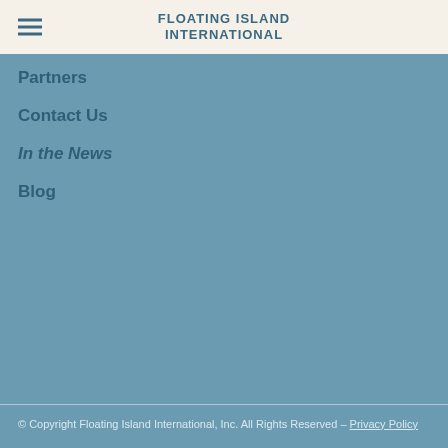FLOATING ISLAND INTERNATIONAL
Partners
Contact Us
In the News
Blog
© Copyright Floating Island International, Inc. All Rights Reserved – Privacy Policy